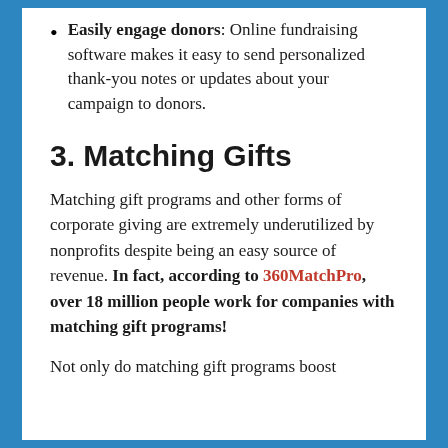Easily engage donors: Online fundraising software makes it easy to send personalized thank-you notes or updates about your campaign to donors.
3. Matching Gifts
Matching gift programs and other forms of corporate giving are extremely underutilized by nonprofits despite being an easy source of revenue. In fact, according to 360MatchPro, over 18 million people work for companies with matching gift programs!
Not only do matching gift programs boost